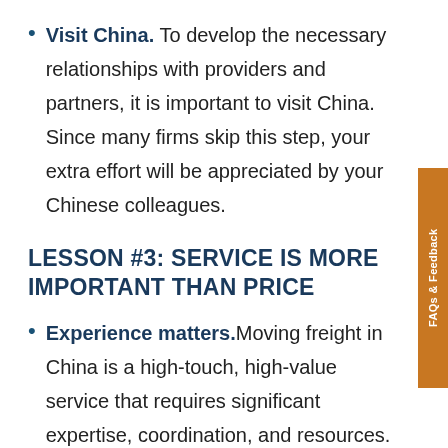Visit China. To develop the necessary relationships with providers and partners, it is important to visit China. Since many firms skip this step, your extra effort will be appreciated by your Chinese colleagues.
LESSON #3: SERVICE IS MORE IMPORTANT THAN PRICE
Experience matters. Moving freight in China is a high-touch, high-value service that requires significant expertise, coordination, and resources. Trying to save a little money by hiring an inexperienced company will end up costing more in